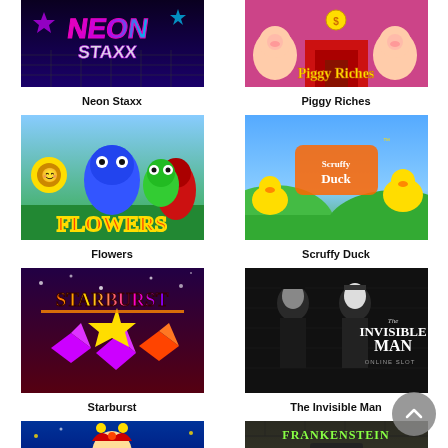[Figure (screenshot): Neon Staxx slot game thumbnail - dark neon/retro theme with stylized text]
Neon Staxx
[Figure (screenshot): Piggy Riches slot game thumbnail - cartoon pigs in luxury setting]
Piggy Riches
[Figure (screenshot): Flowers slot game thumbnail - colorful cartoon flower characters]
Flowers
[Figure (screenshot): Scruffy Duck slot game thumbnail - cartoon ducks and green countryside]
Scruffy Duck
[Figure (screenshot): Starburst slot game thumbnail - colorful gems and stars on space background]
Starburst
[Figure (screenshot): The Invisible Man slot game thumbnail - two men in black and white vintage photo style with text 'The Invisible Man Online Slot']
The Invisible Man
[Figure (screenshot): Jackpot 6000 slot game thumbnail - jester/joker character with colorful text]
[Figure (screenshot): Frankenstein slot game thumbnail - dark horror theme with Frankenstein's monster face and title text]